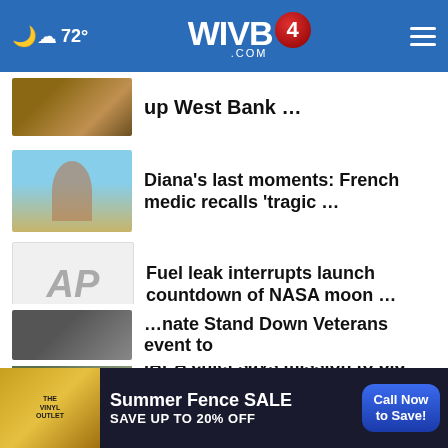72° WIVB4 .COM
up West Bank …
Diana's last moments: French medic recalls 'tragic …
Fuel leak interrupts launch countdown of NASA moon …
IAEA chief says mission to big Ukraine nuclear plant …
Detroit police: Suspect arrested in fatal 'random' …
As Ukraine celebrates their 31st year of independence …
Senate Stand Down Veterans event to …
[Figure (screenshot): Advertisement banner: The Vinyl Outlet – Summer Fence SALE SAVE UP TO 20% OFF with Call Now to Save! CTA button]